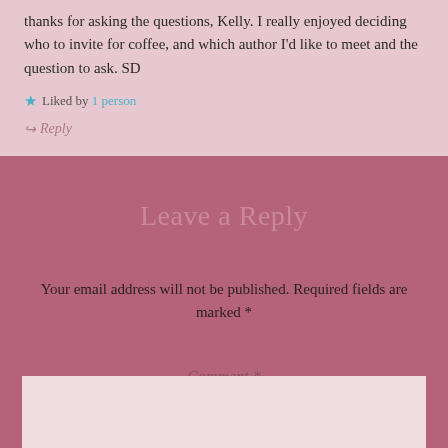thanks for asking the questions, Kelly. I really enjoyed deciding who to invite for coffee, and which author I'd like to meet and the question to ask. SD
Liked by 1 person
Reply
Leave a Reply
Your email address will not be published. Required fields are marked *
Comment *